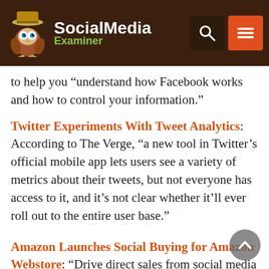Social Media Examiner
to help you “understand how Facebook works and how to control your information.”
Twitter Experiments With Tweet Analytics
According to The Verge, “a new tool in Twitter’s official mobile app lets users see a variety of metrics about their tweets, but not everyone has access to it, and it’s not clear whether it’ll ever roll out to the entire user base.”
Amazon Launches Social Buying for Amazon Webstore
“Drive direct sales from social media news feeds with shareable, shoppable posts of your Amazon Webstore products.”